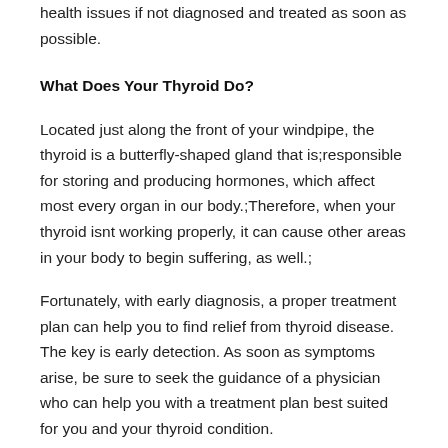health issues if not diagnosed and treated as soon as possible.
What Does Your Thyroid Do?
Located just along the front of your windpipe, the thyroid is a butterfly-shaped gland that is;responsible for storing and producing hormones, which affect most every organ in our body.;Therefore, when your thyroid isnt working properly, it can cause other areas in your body to begin suffering, as well.;
Fortunately, with early diagnosis, a proper treatment plan can help you to find relief from thyroid disease. The key is early detection. As soon as symptoms arise, be sure to seek the guidance of a physician who can help you with a treatment plan best suited for you and your thyroid condition.